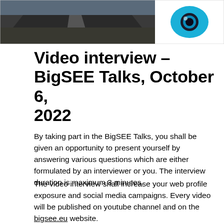[Figure (photo): Left portion shows a road/highway photograph in dark tones; right portion shows a stylized blue eye logo on white background.]
Video interview – BigSEE Talks, October 6, 2022
By taking part in the BigSEE Talks, you shall be given an opportunity to present yourself by answering various questions which are either formulated by an interviewer or you. The interview duration is maximum 3 minutes.
The video interview shall increase your web profile exposure and social media campaigns. Every video will be published on youtube channel and on the bigsee.eu website.